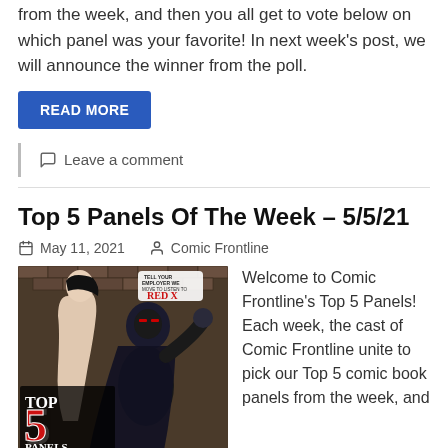from the week, and then you all get to vote below on which panel was your favorite! In next week's post, we will announce the winner from the poll.
READ MORE
Leave a comment
Top 5 Panels Of The Week – 5/5/21
May 11, 2021   Comic Frontline
[Figure (illustration): Comic book cover art showing a black-suited villain figure with red eyes and a female character, with 'TOP 5 PANELS' logo overlay in bottom left and a speech bubble referencing 'Red X' at the top]
Welcome to Comic Frontline's Top 5 Panels! Each week, the cast of Comic Frontline unite to pick our Top 5 comic book panels from the week, and then you all get to vote below on which panel was your